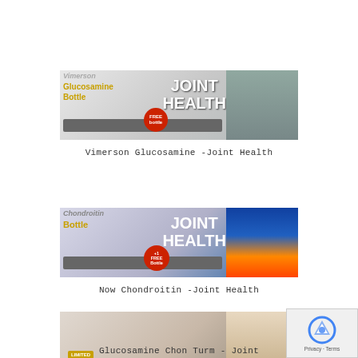[Figure (photo): Vimerson Glucosamine Joint Health product advertisement banner showing supplement bottle and person's legs walking, with JOINT HEALTH text and FREE badge]
Vimerson Glucosamine -Joint Health
[Figure (photo): Now Chondroitin Joint Health product advertisement banner showing supplement bottle and illuminated knee joint image, with JOINT HEALTH text and +1 FREE Bottle badge]
Now Chondroitin -Joint Health
[Figure (photo): Glucosamine Chon Turm Joint Health product advertisement banner showing person stretching and supplement bottles, with LIMITED badge]
Glucosamine Chon Turm - Joint